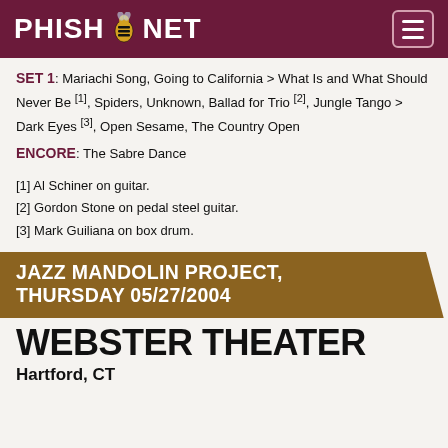PHISH.NET
SET 1: Mariachi Song, Going to California > What Is and What Should Never Be [1], Spiders, Unknown, Ballad for Trio [2], Jungle Tango > Dark Eyes [3], Open Sesame, The Country Open
ENCORE: The Sabre Dance
[1] Al Schiner on guitar.
[2] Gordon Stone on pedal steel guitar.
[3] Mark Guiliana on box drum.
JAZZ MANDOLIN PROJECT, THURSDAY 05/27/2004
WEBSTER THEATER
Hartford, CT